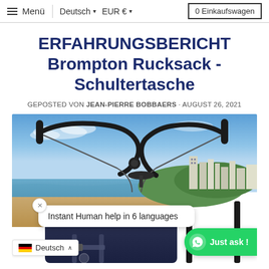≡ Menü | Deutsch ▾ EUR € ▾ | 0 Einkaufswagen
ERFAHRUNGSBERICHT Brompton Rucksack - Schultertasche
GEPOSTED VON JEAN-PIERRE BOBBAERS · AUGUST 26, 2021
[Figure (photo): A Brompton folding bicycle with handlebar visible in foreground, overlooking a beach and sea with city buildings in background. A chat overlay shows 'Instant Human help in 6 languages' with a WhatsApp 'Just ask!' button and German language selector.]